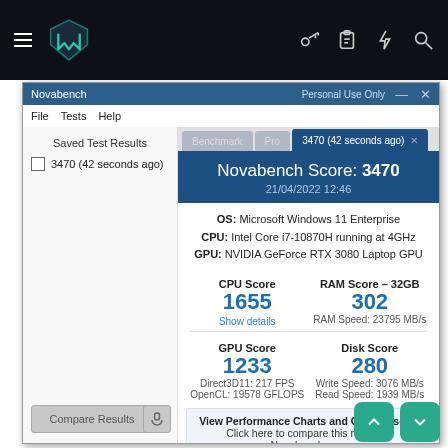[Figure (screenshot): Dark top navigation bar with menu icon, teal shield logo, and icons for key, clipboard, lightning, and search]
[Figure (screenshot): Novabench application window showing benchmark results with score 3470 for system with Intel Core i7-10870H, NVIDIA RTX 3080 Laptop GPU. CPU Score: 1655, RAM Score: 302, GPU Score: 1233, Disk Score: 280.]